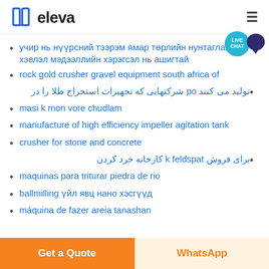[Figure (logo): Eleva logo with book icon and text 'eleva']
учир нь нүүрсний тээрэм ямар төрлийн нунтаглах хэвлэл мэдээллийн хэрэгсэл нь ашигтай
rock gold crusher gravel equipment south africa of
تولید می کنند po شرکتهایی که تجهیزات استخراج طلا را در
masi k mon vore chudlam
manufacture of high efficiency impeller agitation tank
crusher for stone and concrete
برای فروش k feldspat کارخانه خرد کردن
maquinas para triturar piedra de rio
ballmilling үйл явц нано хэсгүүд
máquina de fazer areia tanashan